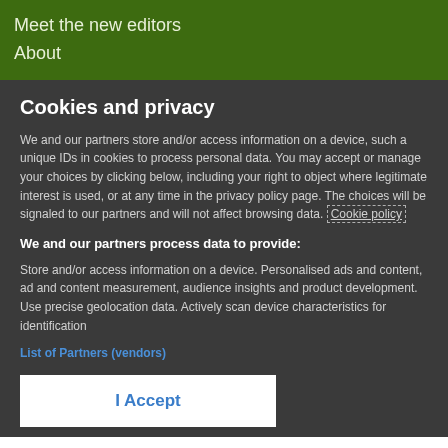Meet the new editors
About
Cookies and privacy
We and our partners store and/or access information on a device, such a unique IDs in cookies to process personal data. You may accept or manage your choices by clicking below, including your right to object where legitimate interest is used, or at any time in the privacy policy page. These choices will be signaled to our partners and will not affect browsing data. Cookie policy
We and our partners process data to provide:
Store and/or access information on a device. Personalised ads and content, ad and content measurement, audience insights and product development. Use precise geolocation data. Actively scan device characteristics for identification
List of Partners (vendors)
I Accept